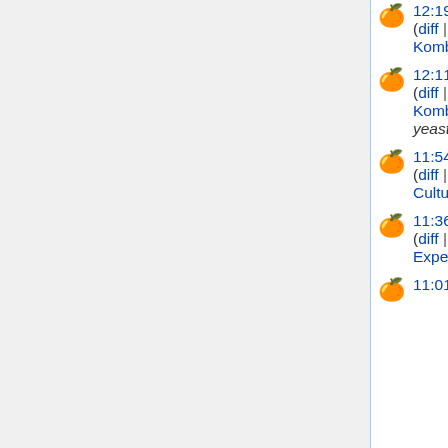12:19, 19 November 2014 (diff | hist) . . (+517) . . Kombucha
12:11, 19 November 2014 (diff | hist) . . (+987) . . N Kombucha (Created page with "Kombucha is a microbial polyculture composed from variety of bacteria and yeast. Traditionally it proliferate by consumption of sugar (for example sucrose/saccharose) and blac...")
11:54, 19 November 2014 (diff | hist) . . (+39) . . Cultures
11:36, 6 September 2014 (diff | hist) . . (+216) . . Experimental Incubator/2.2 mamut (current)
11:01, 6 September 2014